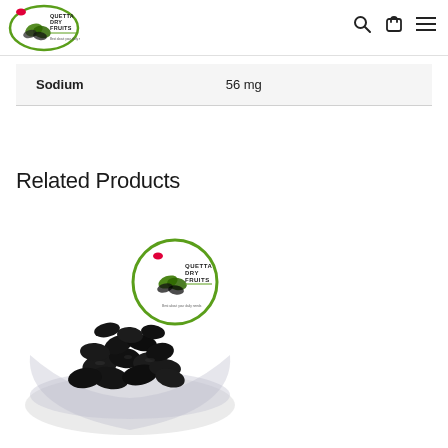[Figure (logo): Quetta Dry Fruits logo with green oval border, leaf/nut illustration, and tagline]
|  |  |
| --- | --- |
| Sodium | 56 mg |
Related Products
[Figure (photo): Bowl of black/dark raisins with Quetta Dry Fruits logo overlay on white background]